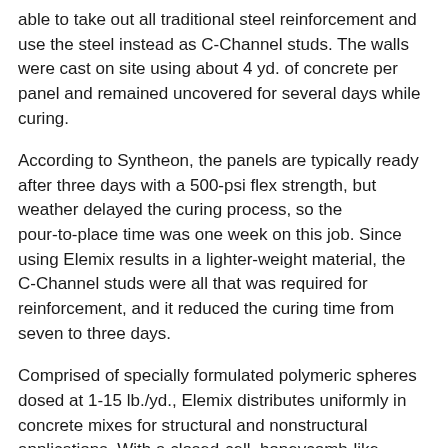able to take out all traditional steel reinforcement and use the steel instead as C-Channel studs. The walls were cast on site using about 4 yd. of concrete per panel and remained uncovered for several days while curing.
According to Syntheon, the panels are typically ready after three days with a 500-psi flex strength, but weather delayed the curing process, so the pour-to-place time was one week on this job. Since using Elemix results in a lighter-weight material, the C-Channel studs were all that was required for reinforcement, and it reduced the curing time from seven to three days.
Comprised of specially formulated polymeric spheres dosed at 1-15 lb./yd., Elemix distributes uniformly in concrete mixes for structural and nonstructural applications. With a closed-cell, honeycomb-like interior structure, the additive has the ability to absorb energy, thus reducing cracking and improving thermal efficiency. The spheres allow practitioners to customize lower unit weights, while improving physical characteristics of the mix